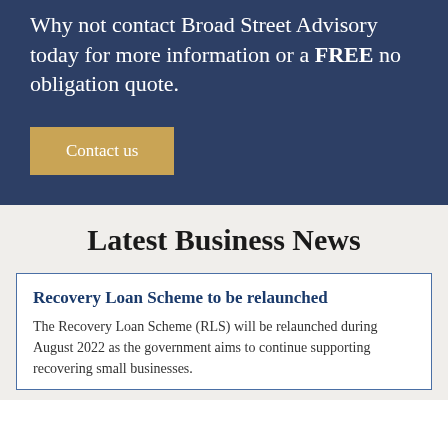Why not contact Broad Street Advisory today for more information or a FREE no obligation quote.
Contact us
Latest Business News
Recovery Loan Scheme to be relaunched
The Recovery Loan Scheme (RLS) will be relaunched during August 2022 as the government aims to continue supporting recovering small businesses.